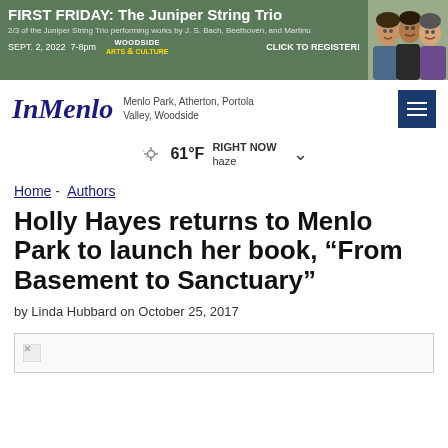[Figure (infographic): Banner advertisement for FIRST FRIDAY: The Juniper String Trio event, with green background, text details, Woodside Arts & Culture logo, and photo of performers. SEPT. 2, 2022 7-8pm. CLICK TO REGISTER!]
InMenlo
Menlo Park, Atherton, Portola Valley, Woodside
61°F RIGHT NOW haze
Home - Authors
Holly Hayes returns to Menlo Park to launch her book, “From Basement to Sanctuary”
by Linda Hubbard on October 25, 2017
[Figure (photo): Broken image placeholder]